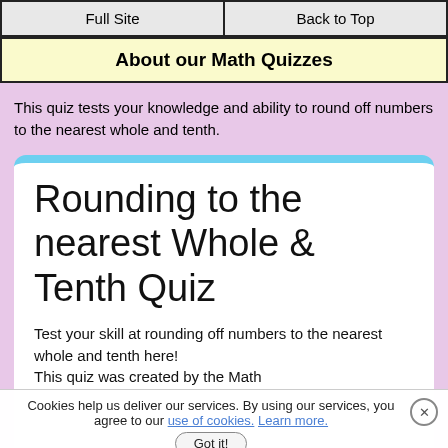Full Site  |  Back to Top
About our Math Quizzes
This quiz tests your knowledge and ability to round off numbers to the nearest whole and tenth.
Rounding to the nearest Whole & Tenth Quiz
Test your skill at rounding off numbers to the nearest whole and tenth here!
This quiz was created by the Math
Cookies help us deliver our services. By using our services, you agree to our use of cookies. Learn more.
Got it!